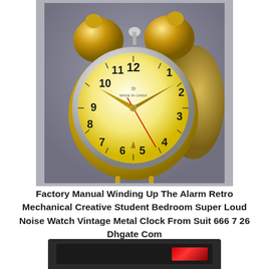[Figure (photo): A gold/brass retro mechanical twin-bell alarm clock with an ornate clock face showing numbers 1-12, gold hands, and two round bells on top, photographed against a gray gradient background.]
Factory Manual Winding Up The Alarm Retro Mechanical Creative Student Bedroom Super Loud Noise Watch Vintage Metal Clock From Suit 666 7 26 Dhgate Com
[Figure (photo): Partial view of a dark gray/black electronic calculator or device with a red display area, cropped at the bottom of the page.]